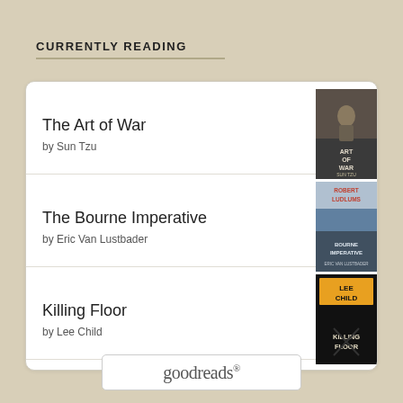CURRENTLY READING
The Art of War by Sun Tzu
The Bourne Imperative by Eric Van Lustbader
Killing Floor by Lee Child
[Figure (logo): goodreads logo in a rounded rectangle border]